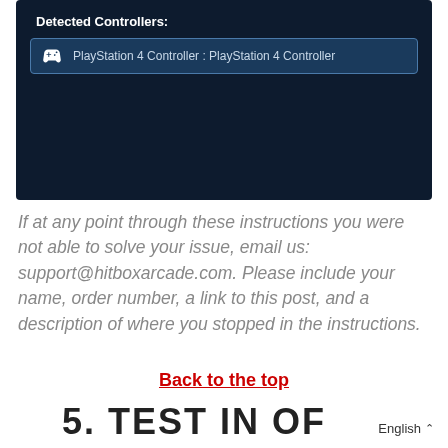[Figure (screenshot): Screenshot of a dark-themed controller detection UI showing 'Detected Controllers:' label and 'PlayStation 4 Controller : PlayStation 4 Controller' entry with a gamepad icon, with a mouse cursor pointing at it.]
If at any point through these instructions you were not able to solve your issue, email us: support@hitboxarcade.com. Please include your name, order number, a link to this post, and a description of where you stopped in the instructions.
Back to the top
5. TEST IN OF